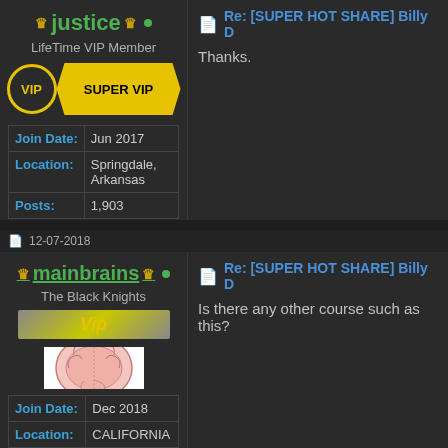justice • LifeTime VIP Member VIP SUPER VIP
| Field | Value |
| --- | --- |
| Join Date: | Jun 2017 |
| Location: | Springdale, Arkansas |
| Posts: | 1,903 |
Re: [SUPER HOT SHARE] Billy D
Thanks.
12-07-2018
mainbrains • The Black Knights Vip
[Figure (photo): Brain illustration/avatar image]
| Field | Value |
| --- | --- |
| Join Date: | Dec 2018 |
| Location: | CALIFORNIA |
Re: [SUPER HOT SHARE] Billy D
Is there any other course such as this?